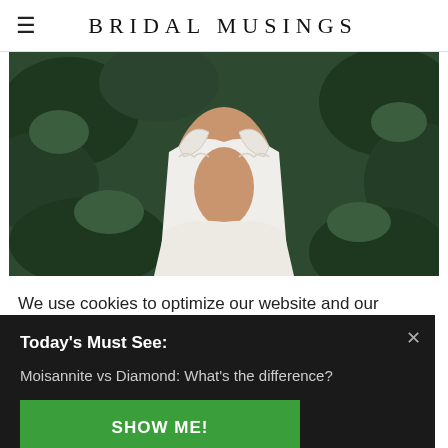BRIDAL MUSINGS
[Figure (photo): Back view of a bride in a white lace-trimmed open-back wedding dress, surrounded by green foliage]
We use cookies to optimize our website and our
Today's Must See:
Moisannite vs Diamond: What's the difference?
SHOW ME!